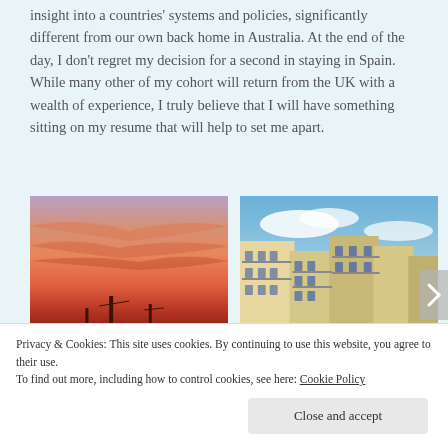insight into a countries' systems and policies, significantly different from our own back home in Australia. At the end of the day, I don't regret my decision for a second in staying in Spain. While many other of my cohort will return from the UK with a wealth of experience, I truly believe that I will have something sitting on my resume that will help to set me apart.
[Figure (photo): Sunset sky with orange and pink cloud streaks and silhouetted antenna towers]
[Figure (photo): European-style apartment buildings with balconies against a blue sky]
Privacy & Cookies: This site uses cookies. By continuing to use this website, you agree to their use.
To find out more, including how to control cookies, see here: Cookie Policy